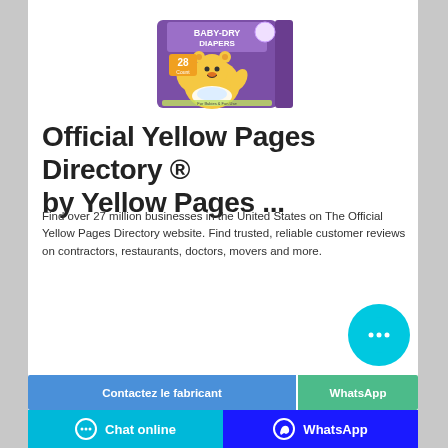[Figure (photo): Baby-dry diapers product package box with a cartoon bear mascot, purple packaging, '28 count' label visible]
Official Yellow Pages Directory ® by Yellow Pages ...
Find over 27 million businesses in the United States on The Official Yellow Pages Directory website. Find trusted, reliable customer reviews on contractors, restaurants, doctors, movers and more.
[Figure (other): Cyan circular chat bubble button with ellipsis (…) icon]
Contactez le fabricant
WhatsApp
Chat online   WhatsApp